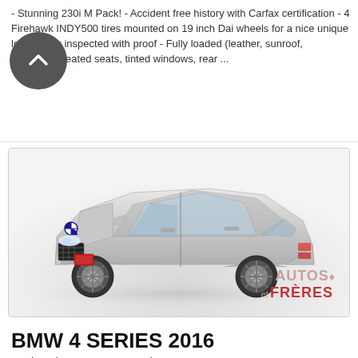- Stunning 230i M Pack! - Accident free history with Carfax certification - 4 Firehawk INDY500 tires mounted on 19 inch Dai wheels for a nice unique look - Fully inspected with proof - Fully loaded (leather, sunroof, bluetooth, heated seats, tinted windows, rear ...
[Figure (photo): Silver BMW 4 Series coupe, 3/4 front view on a light grey background. Autos et Freres watermark in bottom right corner.]
BMW 4 SERIES 2016
428i xDrive Coupe Executive
178,088 km